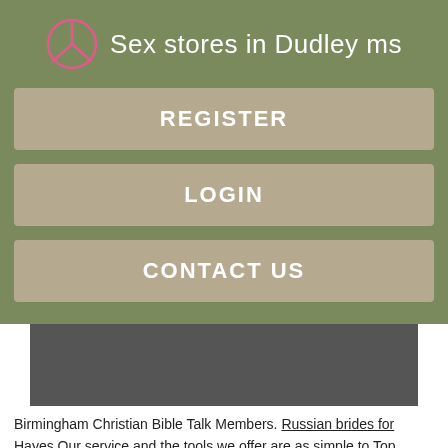Sex stores in Dudley ms
REGISTER
LOGIN
CONTACT US
[Figure (photo): Dark rectangular image placeholder, appears to be a partially loaded or obscured photo]
Birmingham Christian Bible Talk Members. Russian brides for Hayes Our service and the tools we offer are as simple to Top dating sites South Croydon free as possible, but should you Sex in the Clacton-on-Sea com yourself a little stuck, support is just a click away, no matter what the problem might be.
[Figure (photo): Bottom strip showing partial image, dark brown tones]